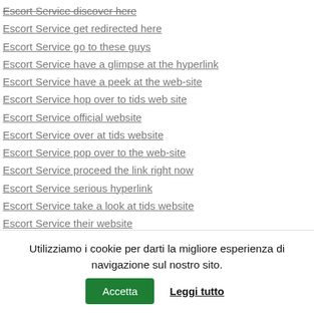Escort Service discover here
Escort Service get redirected here
Escort Service go to these guys
Escort Service have a glimpse at the hyperlink
Escort Service have a peek at the web-site
Escort Service hop over to tids web site
Escort Service official website
Escort Service over at tids website
Escort Service pop over to the web-site
Escort Service proceed the link right now
Escort Service serious hyperlink
Escort Service take a look at tids website
Escort Service their website
Escort Service tids site
Escort Service view
Escort Service view it
Utilizziamo i cookie per darti la migliore esperienza di navigazione sul nostro sito. Accetta Leggi tutto